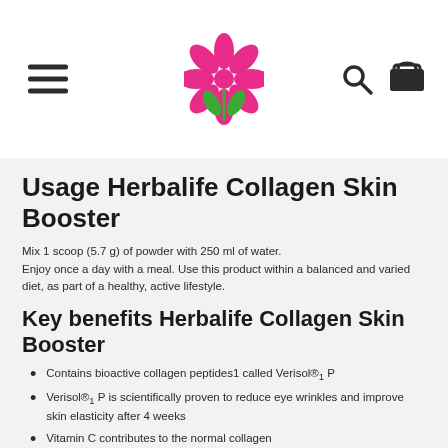[Hamburger menu | Flower logo | Search and cart icons]
Usage Herbalife Collagen Skin Booster
Mix 1 scoop (5.7 g) of powder with 250 ml of water. Enjoy once a day with a meal. Use this product within a balanced and varied diet, as part of a healthy, active lifestyle.
Key benefits Herbalife Collagen Skin Booster
Contains bioactive collagen peptides1 called Verisol®₁ P
Verisol®₁ P is scientifically proven to reduce eye wrinkles and improve skin elasticity after 4 weeks
Vitamin C contributes to the normal collagen